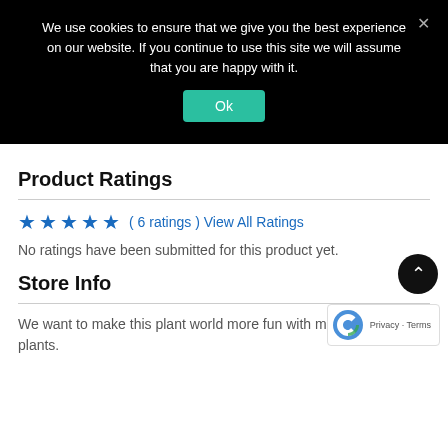We use cookies to ensure that we give you the best experience on our website. If you continue to use this site we will assume that you are happy with it.
Ok
Product Ratings
( 6 ratings ) View All Ratings
No ratings have been submitted for this product yet.
Store Info
We want to make this plant world more fun with more e plants.